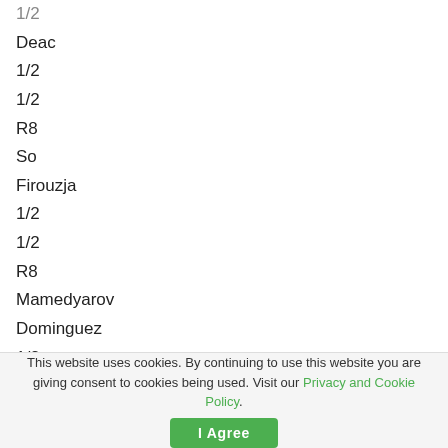1/2
Deac
1/2
1/2
R8
So
Firouzja
1/2
1/2
R8
Mamedyarov
Dominguez
1/2
1/2
This website uses cookies. By continuing to use this website you are giving consent to cookies being used. Visit our Privacy and Cookie Policy.